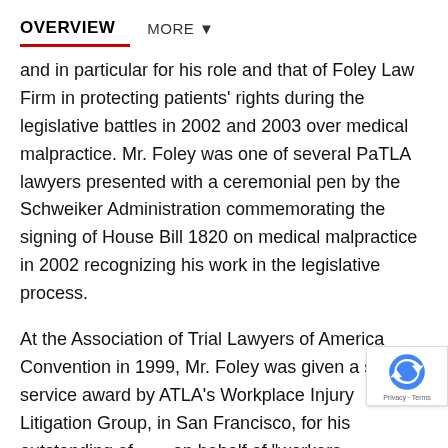OVERVIEW   MORE ▼
and in particular for his role and that of Foley Law Firm in protecting patients' rights during the legislative battles in 2002 and 2003 over medical malpractice. Mr. Foley was one of several PaTLA lawyers presented with a ceremonial pen by the Schweiker Administration commemorating the signing of House Bill 1820 on medical malpractice in 2002 recognizing his work in the legislative process.
At the Association of Trial Lawyers of America Convention in 1999, Mr. Foley was given a special service award by ATLA's Workplace Injury Litigation Group, in San Francisco, for his outstanding efforts on behalf of "workers everywhere" in the matter of Sullivan v. Barnett in the United States Supreme